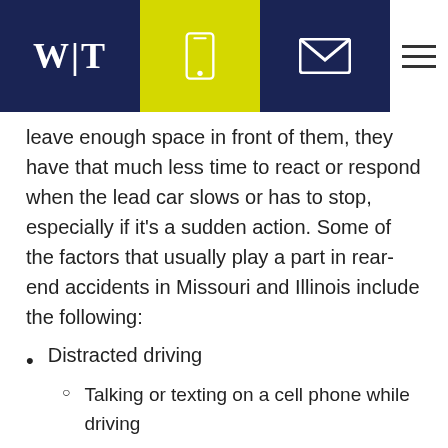[Figure (screenshot): Website navigation header with W|T logo on dark navy background, yellow phone icon section, navy email icon section, and white hamburger menu section]
leave enough space in front of them, they have that much less time to react or respond when the lead car slows or has to stop, especially if it's a sudden action. Some of the factors that usually play a part in rear-end accidents in Missouri and Illinois include the following:
Distracted driving
Talking or texting on a cell phone while driving
Eating, drinking, or smoking
Using the vehicle's navigation system,